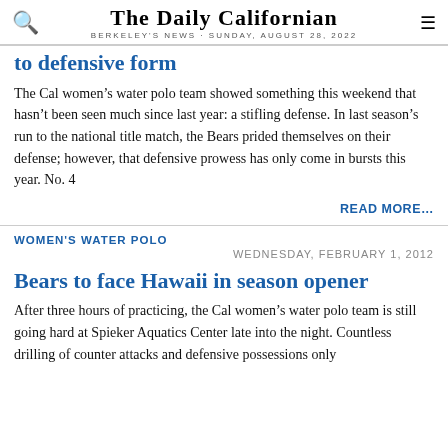THE DAILY CALIFORNIAN — BERKELEY'S NEWS · SUNDAY, AUGUST 28, 2022
to defensive form
The Cal women's water polo team showed something this weekend that hasn't been seen much since last year: a stifling defense. In last season's run to the national title match, the Bears prided themselves on their defense; however, that defensive prowess has only come in bursts this year. No. 4
READ MORE…
WOMEN'S WATER POLO
WEDNESDAY, FEBRUARY 1, 2012
Bears to face Hawaii in season opener
After three hours of practicing, the Cal women's water polo team is still going hard at Spieker Aquatics Center late into the night. Countless drilling of counter attacks and defensive possessions only